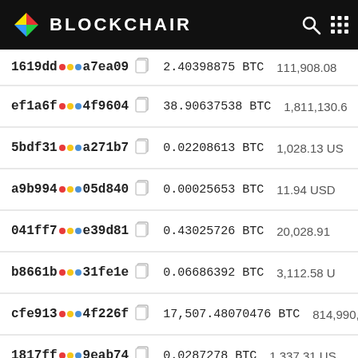BLOCKCHAIR
| Address | BTC Amount | USD Value |
| --- | --- | --- |
| 1619dd...a7ea09 | 2.40398875 BTC | 111,908.08 |
| ef1a6f...4f9604 | 38.90637538 BTC | 1,811,130.6 |
| 5bdf31...a271b7 | 0.02208613 BTC | 1,028.13 US |
| a9b994...05d840 | 0.00025653 BTC | 11.94 USD |
| 041ff7...e39d81 | 0.43025726 BTC | 20,028.91 |
| b8661b...31fe1e | 0.06686392 BTC | 3,112.58 U |
| cfe913...4f226f | 17,507.48070476 BTC | 814,990,70 |
| 1817ff...9eab74 | 0.0287278 BTC | 1,337.31 US |